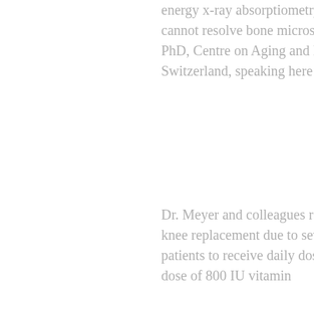energy x-ray absorptiometry (DXA) to assess bone outcomes, but DXA cannot resolve bone microstructure, explained lead author Ursina Meyer, PhD, Centre on Aging and Mobility, University Hospital Zurich, Zurich Switzerland, speaking here on September 28.
Dr. Meyer and colleagues recruited 273 patients undergoing unilateral total-knee replacement due to severe knee osteoarthritis. The team randomised patients to receive daily doses of either 2,000 IU vitamin D or the standard-dose of 800 IU vitamin